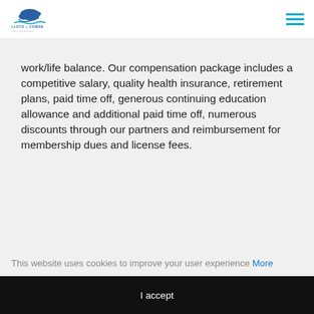Lloyd & Cowan logo and navigation menu
work/life balance. Our compensation package includes a competitive salary, quality health insurance, retirement plans, paid time off, generous continuing education allowance and additional paid time off, numerous discounts through our partners and reimbursement for membership dues and license fees.
If you wish to apply send a CV through the link with a mention of when you will be available for
This website uses cookies to improve your user experience More
I accept